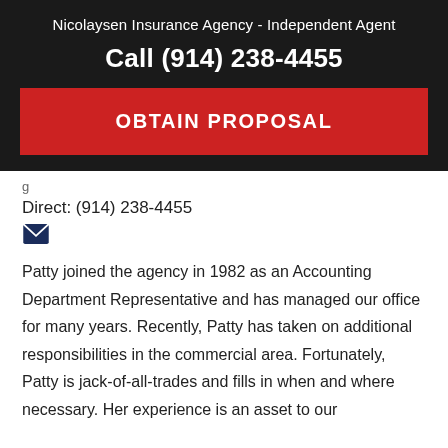Nicolaysen Insurance Agency - Independent Agent
Call (914) 238-4455
OBTAIN PROPOSAL
Direct: (914) 238-4455
Patty joined the agency in 1982 as an Accounting Department Representative and has managed our office for many years. Recently, Patty has taken on additional responsibilities in the commercial area. Fortunately, Patty is jack-of-all-trades and fills in when and where necessary. Her experience is an asset to our